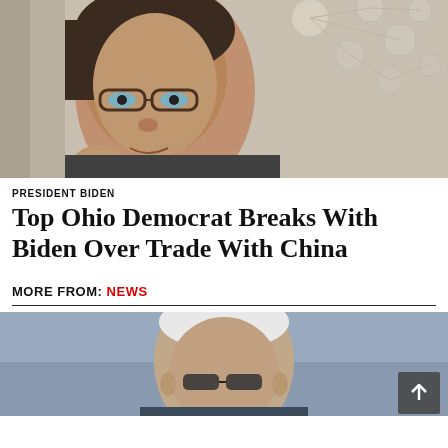[Figure (photo): Close-up photo of a middle-aged woman with glasses and short dark hair, with a network/tree diagram with circular portraits in the background. She appears to be at a formal hearing or event.]
PRESIDENT BIDEN
Top Ohio Democrat Breaks With Biden Over Trade With China
MORE FROM: NEWS
[Figure (photo): Partial photo of an elderly man with glasses and white hair, outdoors, partially cropped.]